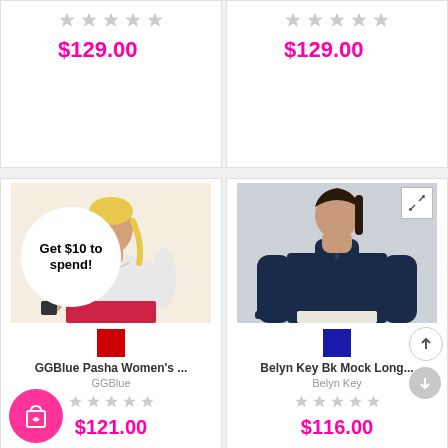$129.00
$129.00
[Figure (photo): Woman wearing white sweatshirt with black stripe details, pink skirt, with 'Get $10 to spend!' promo circle overlay]
Get $10 to spend!
GGBlue Pasha Women's ...
GGBlue
$121.00
[Figure (photo): Woman wearing navy blue mock neck long sleeve zip-up top]
Belyn Key Bk Mock Long...
Belyn Key
$116.00